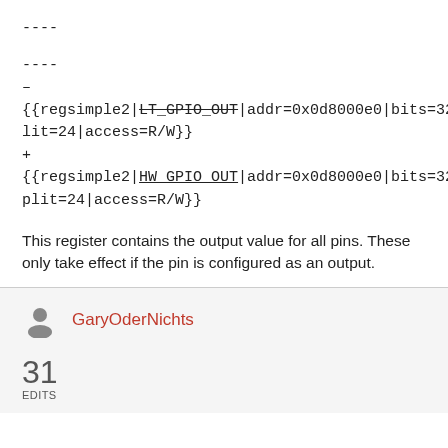----
----
–
{{regsimple2|LT_GPIO_OUT|addr=0x0d8000e0|bits=32|split=24|access=R/W}}
+
{{regsimple2|HW_GPIO_OUT|addr=0x0d8000e0|bits=32|split=24|access=R/W}}
This register contains the output value for all pins. These only take effect if the pin is configured as an output.
GaryOderNichts
31
EDITS